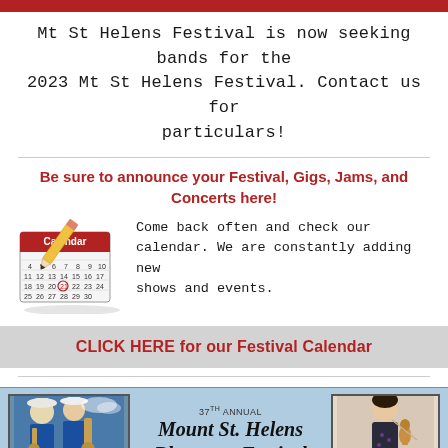Mt St Helens Festival is now seeking bands for the
2023 Mt St Helens Festival. Contact us for particulars!
Be sure to announce your Festival, Gigs, Jams, and Concerts here!
[Figure (illustration): Calendar with pencil illustration]
Come back often and check our calendar. We are constantly adding new shows and events.
CLICK HERE for our Festival Calendar
[Figure (illustration): Festival banner with band photo on left, violin player on right, and text '37th Annual Mount St. Helens Bluegrass Festival' in center]